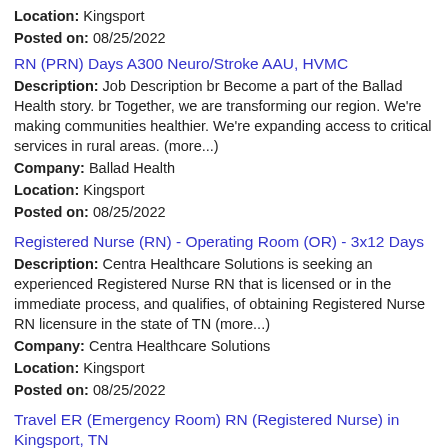Location: Kingsport
Posted on: 08/25/2022
RN (PRN) Days A300 Neuro/Stroke AAU, HVMC
Description: Job Description br Become a part of the Ballad Health story. br Together, we are transforming our region. We're making communities healthier. We're expanding access to critical services in rural areas. (more...)
Company: Ballad Health
Location: Kingsport
Posted on: 08/25/2022
Registered Nurse (RN) - Operating Room (OR) - 3x12 Days
Description: Centra Healthcare Solutions is seeking an experienced Registered Nurse RN that is licensed or in the immediate process, and qualifies, of obtaining Registered Nurse RN licensure in the state of TN (more...)
Company: Centra Healthcare Solutions
Location: Kingsport
Posted on: 08/25/2022
Travel ER (Emergency Room) RN (Registered Nurse) in Kingsport, TN
Description: Medical Solutions is looking for a talented travel RN